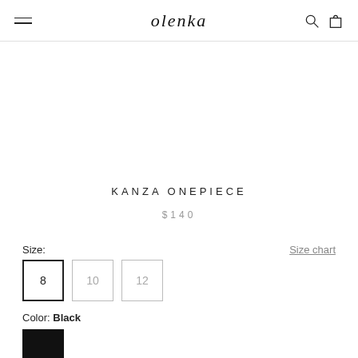olenka
KANZA ONEPIECE
$140
Size:
Size chart
8
10
12
Color: Black